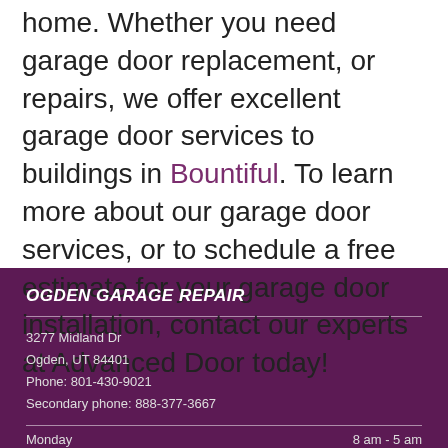home. Whether you need garage door replacement, or repairs, we offer excellent garage door services to buildings in Bountiful. To learn more about our garage door services, or to schedule a free estimate for your garage door installation, contact our experts at Advanced Door today!
OGDEN GARAGE REPAIR
3277 Midland Dr
Ogden, UT 84401
Phone: 801-430-9021
Secondary phone: 888-377-3667
Monday